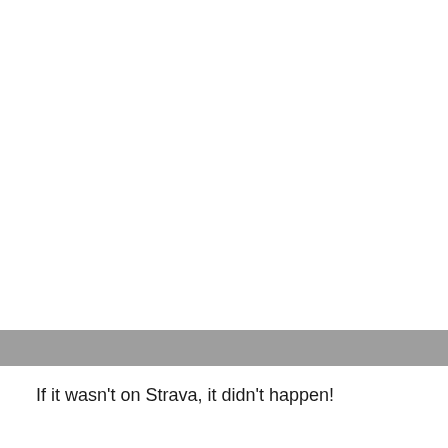If it wasn't on Strava, it didn't happen!